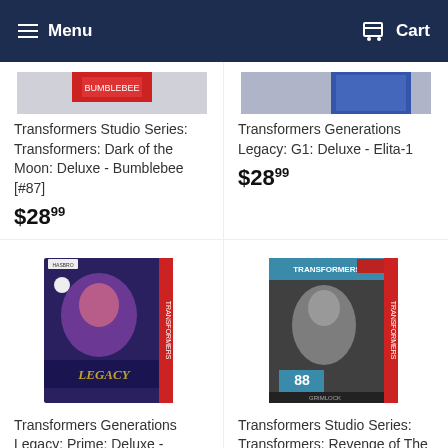Menu  Cart
[Figure (screenshot): Partial product image cropped at top - Transformers Studio Series Bumblebee box]
Transformers Studio Series: Transformers: Dark of the Moon: Deluxe - Bumblebee [#87]
$28.99
[Figure (screenshot): Partial product image cropped at top - Transformers Generations Legacy Elita-1 box]
Transformers Generations Legacy: G1: Deluxe - Elita-1
$28.99
[Figure (photo): Transformers Generations Legacy Prime Deluxe Knock-Out toy box image]
Transformers Generations Legacy: Prime: Deluxe - Knock-Out
[Figure (photo): Transformers Studio Series 88 Revenge of the Fallen Deluxe toy box image]
Transformers Studio Series: Transformers: Revenge of The Fallen: Deluxe -